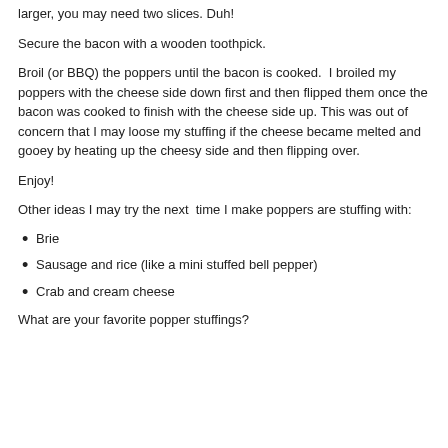larger, you may need two slices. Duh!
Secure the bacon with a wooden toothpick.
Broil (or BBQ) the poppers until the bacon is cooked.  I broiled my poppers with the cheese side down first and then flipped them once the bacon was cooked to finish with the cheese side up. This was out of concern that I may loose my stuffing if the cheese became melted and gooey by heating up the cheesy side and then flipping over.
Enjoy!
Other ideas I may try the next  time I make poppers are stuffing with:
Brie
Sausage and rice (like a mini stuffed bell pepper)
Crab and cream cheese
What are your favorite popper stuffings?